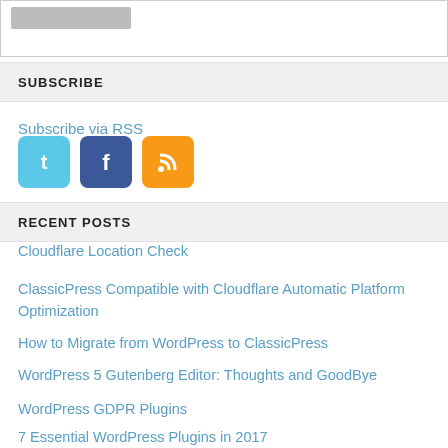[Figure (screenshot): Partial widget box with a grey button stub at top]
SUBSCRIBE
Subscribe via RSS
[Figure (infographic): Social media icons: Twitter (light blue bird), Facebook (blue f), RSS (orange feed icon)]
RECENT POSTS
Cloudflare Location Check
ClassicPress Compatible with Cloudflare Automatic Platform Optimization
How to Migrate from WordPress to ClassicPress
WordPress 5 Gutenberg Editor: Thoughts and GoodBye
WordPress GDPR Plugins
7 Essential WordPress Plugins in 2017